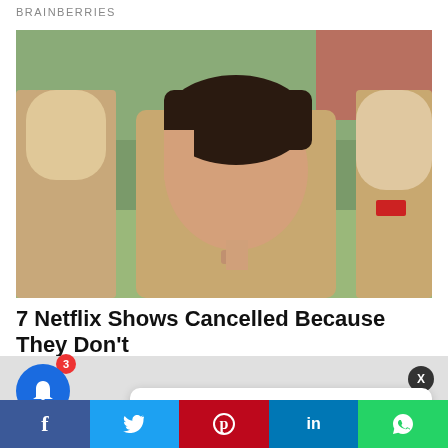BRAINBERRIES
[Figure (photo): A person with short dark hair wearing a tan/beige prison uniform, sitting outdoors. Two other people in similar uniforms visible on either side. Background shows green grass and a fence.]
7 Netflix Shows Cancelled Because They Don't
[Figure (screenshot): Notification popup card showing thumbnail of money/currency notes and text: 'Black Market Dollar To Naira Exchange Rate' with timestamp '6 hours ago']
Black Market Dollar To Naira Exchange Rate
6 hours ago
Shares